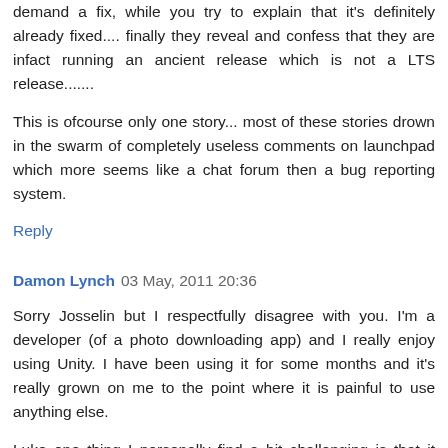demand a fix, while you try to explain that it's definitely already fixed.... finally they reveal and confess that they are infact running an ancient release which is not a LTS release.......
This is ofcourse only one story... most of these stories drown in the swarm of completely useless comments on launchpad which more seems like a chat forum then a bug reporting system.
Reply
Damon Lynch 03 May, 2011 20:36
Sorry Josselin but I respectfully disagree with you. I'm a developer (of a photo downloading app) and I really enjoy using Unity. I have been using it for some months and it's really grown on me to the point where it is painful to use anything else.
Luke one thing I personally find a bit challenging is that it takes a pretty high level of skill to be able to report a bug in the right way so that it has a fighting chance of being fixed...